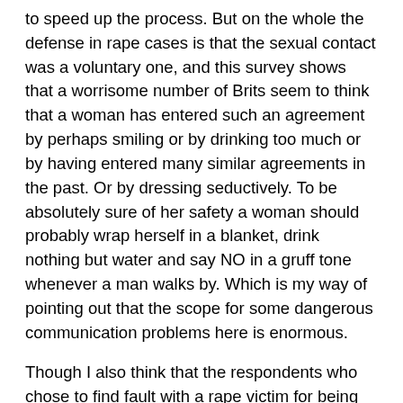to speed up the process. But on the whole the defense in rape cases is that the sexual contact was a voluntary one, and this survey shows that a worrisome number of Brits seem to think that a woman has entered such an agreement by perhaps smiling or by drinking too much or by having entered many similar agreements in the past. Or by dressing seductively. To be absolutely sure of her safety a woman should probably wrap herself in a blanket, drink nothing but water and say NO in a gruff tone whenever a man walks by. Which is my way of pointing out that the scope for some dangerous communication problems here is enormous.
Though I also think that the respondents who chose to find fault with a rape victim for being flirtatious or drunk or promiscuous did so because they want to think that rape can be avoided by avoiding whatever "slutty" behaviors they mention.
Then there is the really frightening possibility that the respondents attributing responsibility to the rape victim based on her clothes or drinking or past sexual history actually think that certain types of women deserve to be